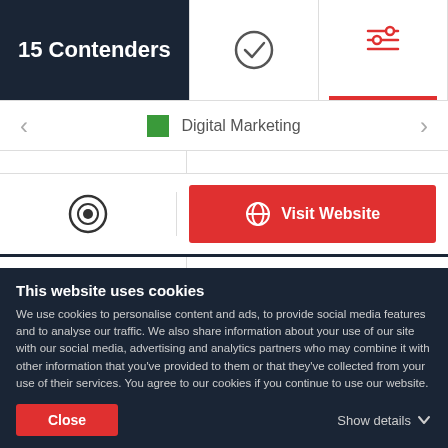15 Contenders
[Figure (screenshot): UI tab with checkmark icon (selected/verified indicator)]
[Figure (screenshot): UI tab with filter/settings icon, active (red underline)]
Digital Marketing
[Figure (screenshot): Radio button / target icon]
Visit Website
FlexLeads
Lead Generation for Small Business
This website uses cookies
We use cookies to personalise content and ads, to provide social media features and to analyse our traffic. We also share information about your use of our site with our social media, advertising and analytics partners who may combine it with other information that you've provided to them or that they've collected from your use of their services. You agree to our cookies if you continue to use our website.
Close
Show details